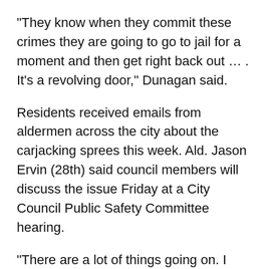“They know when they commit these crimes they are going to go to jail for a moment and then get right back out … . It’s a revolving door,” Dunagan said.
Residents received emails from aldermen across the city about the carjacking sprees this week. Ald. Jason Ervin (28th) said council members will discuss the issue Friday at a City Council Public Safety Committee hearing.
“There are a lot of things going on. I know the pandemic is part of it, you can’t say that it isn’t,” Ervin said. “But there are also some challenges with the juveniles being released so quickly. There are a myriad of issues that went into creating